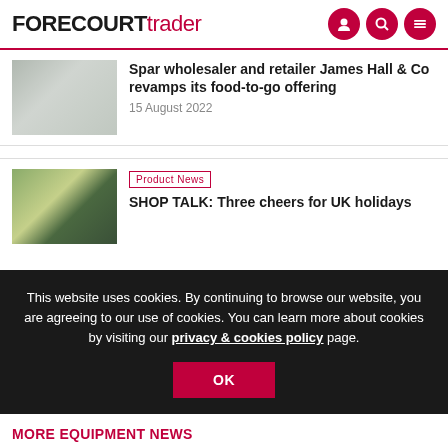FORECOURTtrader
Spar wholesaler and retailer James Hall & Co revamps its food-to-go offering
15 August 2022
Product News
SHOP TALK: Three cheers for UK holidays
This website uses cookies. By continuing to browse our website, you are agreeing to our use of cookies. You can learn more about cookies by visiting our privacy & cookies policy page.
OK
MORE EQUIPMENT NEWS